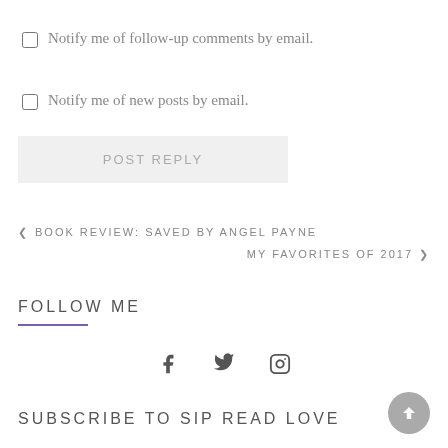Notify me of follow-up comments by email.
Notify me of new posts by email.
POST REPLY
< BOOK REVIEW: SAVED BY ANGEL PAYNE
MY FAVORITES OF 2017 >
FOLLOW ME
[Figure (infographic): Social media icons: Facebook, Twitter, Instagram]
SUBSCRIBE TO SIP READ LOVE